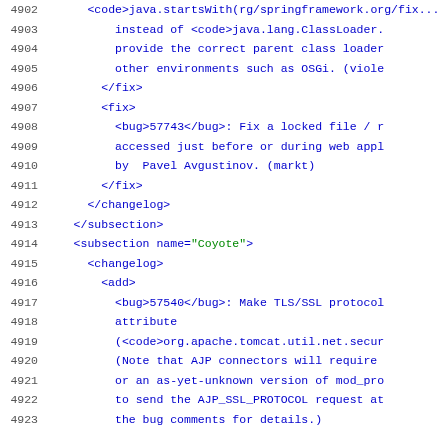Code listing lines 4902-4923 showing XML changelog/fix/add tags with Java/Apache Tomcat references
4902 (truncated line)
4903     instead of <code>java.lang.ClassLoader.
4904     provide the correct parent class loader
4905     other environments such as OSGi. (viole
4906   </fix>
4907   <fix>
4908     <bug>57743</bug>: Fix a locked file / r
4909     accessed just before or during web appl
4910     by  Pavel Avgustinov. (markt)
4911   </fix>
4912 </changelog>
4913 </subsection>
4914 <subsection name="Coyote">
4915   <changelog>
4916     <add>
4917       <bug>57540</bug>: Make TLS/SSL protocol
4918       attribute
4919       (<code>org.apache.tomcat.util.net.secur
4920       (Note that AJP connectors will require
4921       or an as-yet-unknown version of mod_pro
4922       to send the AJP_SSL_PROTOCOL request at
4923       the bug comments for details.)